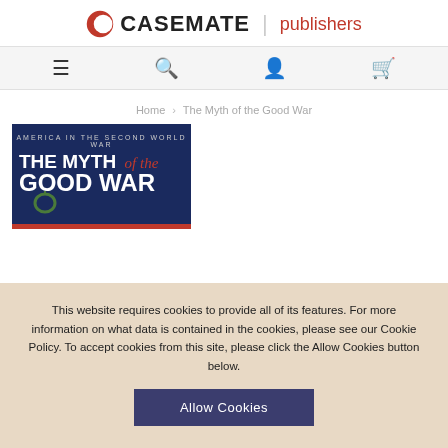[Figure (logo): Casemate Publishers logo with red crescent moon icon, bold CASEMATE text, vertical separator, and red 'publishers' text]
[Figure (screenshot): Navigation bar with hamburger menu icon, search icon, account icon, and cart icon on light gray background]
Home › The Myth of the Good War
[Figure (photo): Book cover for 'The Myth of the Good War: America in the Second World War' — dark navy background with large white bold type and red italic script 'of the']
This website requires cookies to provide all of its features. For more information on what data is contained in the cookies, please see our Cookie Policy. To accept cookies from this site, please click the Allow Cookies button below.